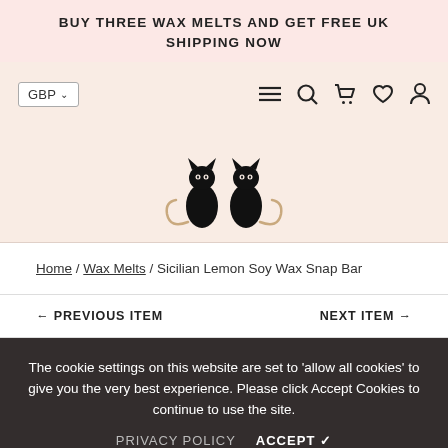BUY THREE WAX MELTS AND GET FREE UK SHIPPING NOW
[Figure (logo): Two black cat silhouettes forming a logo, sitting side by side with curled tails]
Home / Wax Melts / Sicilian Lemon Soy Wax Snap Bar
← PREVIOUS ITEM    NEXT ITEM →
The cookie settings on this website are set to 'allow all cookies' to give you the very best experience. Please click Accept Cookies to continue to use the site. PRIVACY POLICY  ACCEPT ✓